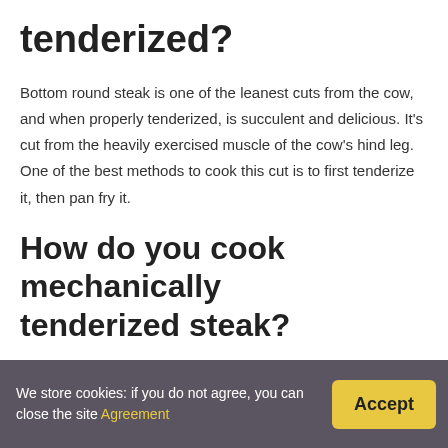tenderized?
Bottom round steak is one of the leanest cuts from the cow, and when properly tenderized, is succulent and delicious. It's cut from the heavily exercised muscle of the cow's hind leg. One of the best methods to cook this cut is to first tenderize it, then pan fry it.
How do you cook mechanically tenderized steak?
How can I cook meat safely?
Always use a food thermometer when cooking meat.
Cook mechanically tenderized meat (e.g., steaks, roasts) to at least 63°C (145°F) on the inside. Cook ground meat to
We store cookies: if you do not agree, you can close the site Agreement